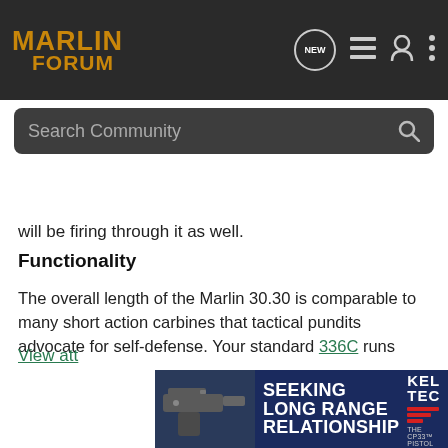MARLIN FORUM
will be firing through it as well.
Functionality
The overall length of the Marlin 30.30 is comparable to many short action carbines that tactical pundits advocate for self-defense. Your standard 336C runs 38.5-inches long overall with a 7-pound weight, 20-inch barrel and the capability to carry six rounds in the mag and a 7th in the pipe. Ruger's Mini-30 with a comparable round is a near mirror image of this while the Smith and Wesson MP-15 is only a couple inches shorter. With this being said the Marlin ties in the length category.
[Figure (screenshot): Advertisement banner for Kel-Tec CP33 pistol with text SEEKING LONG RANGE RELATIONSHIP]